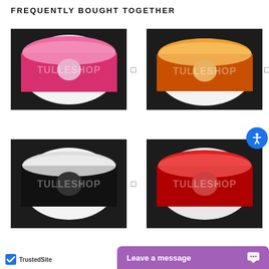FREQUENTLY BOUGHT TOGETHER
[Figure (photo): Pink sheer/organza ribbon spool on dark background with TULLESHOP watermark]
[Figure (photo): Orange sheer/organza ribbon spool on dark background with TULLESHOP watermark]
[Figure (photo): Black sheer/organza ribbon spool on dark background with TULLESHOP watermark]
[Figure (photo): Red sheer/organza ribbon spool on dark background with TULLESHOP watermark]
Leave a message
TrustedSite